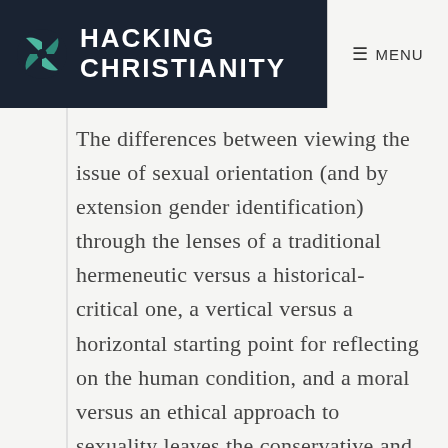HACKING CHRISTIANITY — MENU
The differences between viewing the issue of sexual orientation (and by extension gender identification) through the lenses of a traditional hermeneutic versus a historical-critical one, a vertical versus a horizontal starting point for reflecting on the human condition, and a moral versus an ethical approach to sexuality leaves the conservative and progressive camps of the denomination in